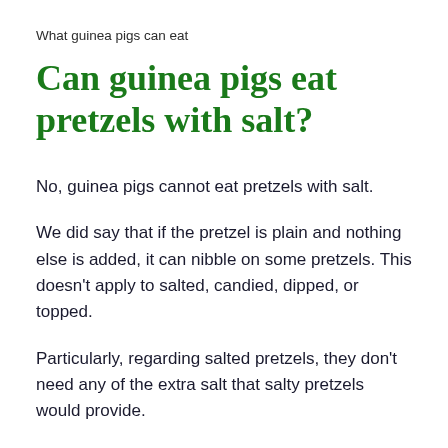What guinea pigs can eat
Can guinea pigs eat pretzels with salt?
No, guinea pigs cannot eat pretzels with salt.
We did say that if the pretzel is plain and nothing else is added, it can nibble on some pretzels. This doesn't apply to salted, candied, dipped, or topped.
Particularly, regarding salted pretzels, they don't need any of the extra salt that salty pretzels would provide.